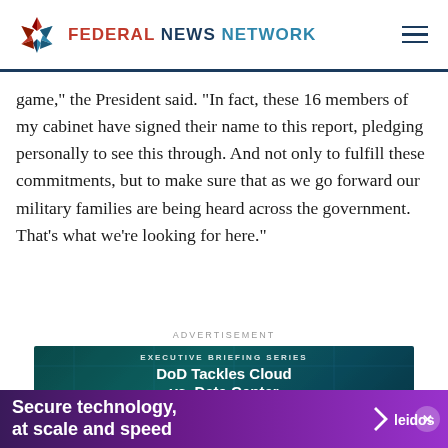FEDERAL NEWS NETWORK
game," the President said. "In fact, these 16 members of my cabinet have signed their name to this report, pledging personally to see this through. And not only to fulfill these commitments, but to make sure that as we go forward our military families are being heard across the government. That's what we're looking for here."
ADVERTISEMENT
[Figure (screenshot): Advertisement for Federal News Network Executive Briefing Series: 'DoD Tackles Cloud vs. Data Center' with a Download Now button, shown over a dark teal server room background.]
[Figure (screenshot): Bottom banner advertisement: 'Secure technology, at scale and speed' with Leidos logo, on a purple gradient background with an X close button.]